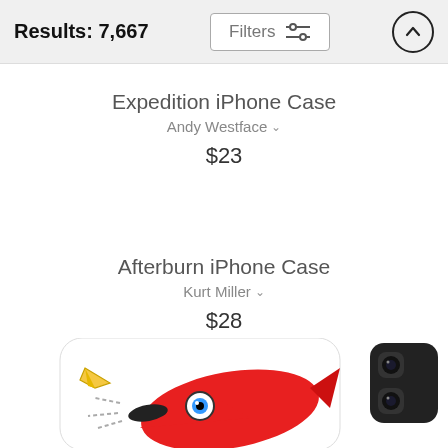Results: 7,667
Expedition iPhone Case
Andy Westface
$23
Afterburn iPhone Case
Kurt Miller
$28
[Figure (photo): Bottom portion of a phone case product image showing a cartoon red airplane with a paper plane, partially visible at the bottom of the screen]